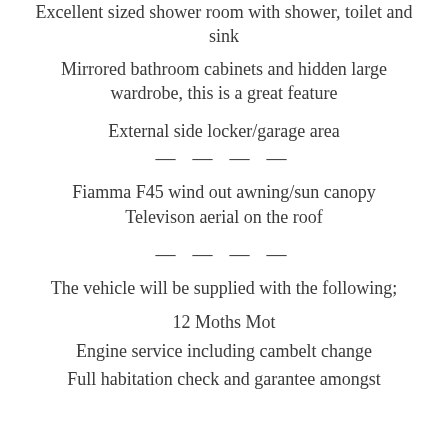Excellent sized shower room with shower, toilet and sink
Mirrored bathroom cabinets and hidden large wardrobe, this is a great feature
External side locker/garage area
— — — —
Fiamma F45 wind out awning/sun canopy
Televison aerial on the roof
— — — —
The vehicle will be supplied with the following;
12 Moths Mot
Engine service including cambelt change
Full habitation check and garantee amongst...